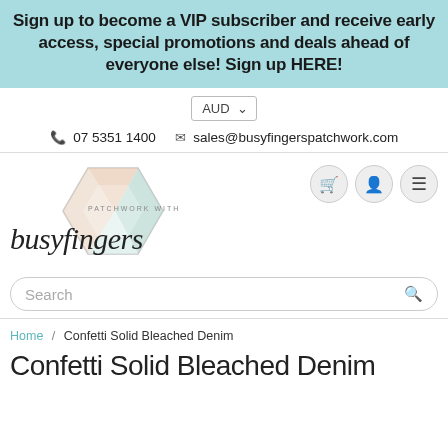Sign up to become a VIP subscriber and receive early access, special promotions and deals ahead of everyone else! Sign up HERE!
AUD
07 5351 1400  sales@busyfingerspatchwork.com
[Figure (logo): Busy Fingers Patchwork logo with hexagon geometric shape in pastel colors and script/sans-serif text]
Search
Home / Confetti Solid Bleached Denim
Confetti Solid Bleached Denim